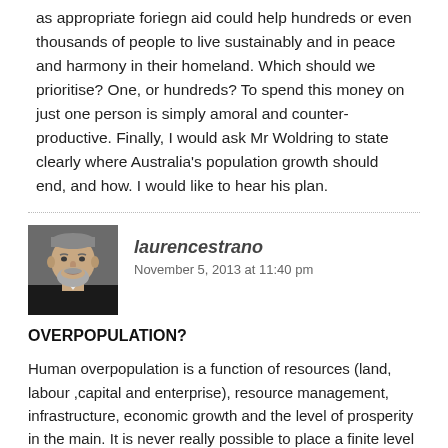as appropriate foriegn aid could help hundreds or even thousands of people to live sustainably and in peace and harmony in their homeland. Which should we prioritise? One, or hundreds? To spend this money on just one person is simply amoral and counter-productive. Finally, I would ask Mr Woldring to state clearly where Australia's population growth should end, and how. I would like to hear his plan.
[Figure (photo): Portrait photo of a middle-aged man with grey beard and dark clothing]
laurencestrano
November 5, 2013 at 11:40 pm
OVERPOPULATION?
Human overpopulation is a function of resources (land, labour ,capital and enterprise), resource management, infrastructure, economic growth and the level of prosperity in the main. It is never really possible to place a finite level on what comprises a level of ideal population and when overpopulation